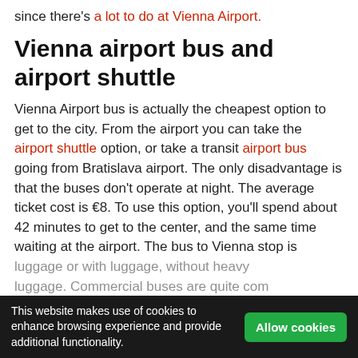since there's a lot to do at Vienna Airport.
Vienna airport bus and airport shuttle
Vienna Airport bus is actually the cheapest option to get to the city. From the airport you can take the airport shuttle option, or take a transit airport bus going from Bratislava airport. The only disadvantage is that the buses don't operate at night. The average ticket cost is €8. To use this option, you'll spend about 42 minutes to get to the center, and the same time waiting at the airport. The bus to Vienna stop is located near the exit from the arrivals terminal, so when you leave the building, you will see it immediately.
This website makes use of cookies to enhance browsing experience and provide additional functionality.